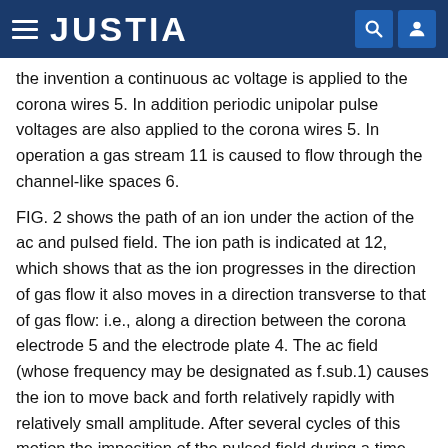JUSTIA
the invention a continuous ac voltage is applied to the corona wires 5. In addition periodic unipolar pulse voltages are also applied to the corona wires 5. In operation a gas stream 11 is caused to flow through the channel-like spaces 6.
FIG. 2 shows the path of an ion under the action of the ac and pulsed field. The ion path is indicated at 12, which shows that as the ion progresses in the direction of gas flow it also moves in a direction transverse to that of gas flow: i.e., along a direction between the corona electrode 5 and the electrode plate 4. The ac field (whose frequency may be designated as f.sub.1) causes the ion to move back and forth relatively rapidly with relatively small amplitude. After several cycles of this motion the imposition of the pulsed field during a time t.sub.o (i.e., the pulse width) imparts motion which translates the ion towards the electrode plate 4 in a jump which is of the